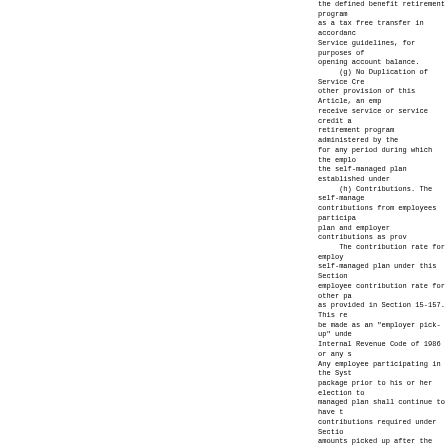the defined benefit retirement program as a tax free transfer in accordance Service guidelines, for purposes of opening account balance.
    (g) No Duplication of Service Cre other provision of this Article, an emp receive service or service credit a retirement program administered by the for any period during which the emplo the self-managed plan established under
    (h) Contributions. The self-manage contributions from employees participa plan and employer contributions as prov
    The contribution rate for employ self-managed plan under this Section employee contribution rate for other pa as provided in Section 15-157. This re be made as an "employer pick-up" unde Internal Revenue Code of 1986 or any s Any employee participating in the Syst package prior to his or her election to managed plan shall continue to have t contributions required under Sectio amounts picked up after the election shall be remitted to and treated as as plan. In no event shall an employee ha these amounts in cash. Employees contributions to the self-managed p procedures prescribed by the System, under rules prescribed by the System.